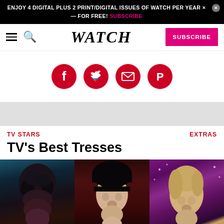ENJOY 4 DIGITAL PLUS 2 PRINT/DIGITAL ISSUES OF WATCH PER YEAR — FOR FREE! SUBSCRIBE
[Figure (logo): WATCH magazine logo and navigation bar with hamburger menu, search icon, and SUBSCRIBE button]
[Figure (infographic): Four red circular social media share buttons: Facebook, Twitter, Email, Pinterest]
[Figure (other): Gray advertisement placeholder area]
TV STARS
EXTRAS
TV's Best Tresses
[Figure (photo): Three TV stars showing their best hairstyles: person with curly dark hair on left, person with straight black bowl cut in middle, person with blonde hair on right]